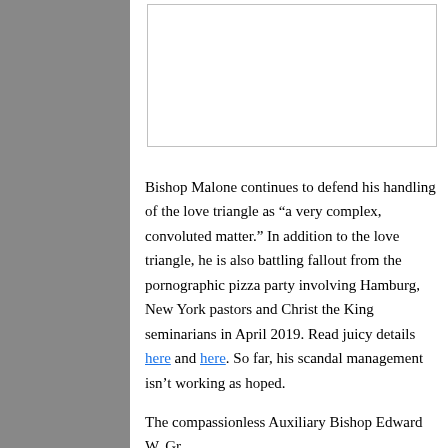[Figure (other): Image placeholder at top of page, white rectangle]
Bishop Malone continues to defend his handling of the love triangle as “a very complex, convoluted matter.” In addition to the love triangle, he is also battling fallout from the pornographic pizza party involving Hamburg, New York pastors and Christ the King seminarians in April 2019. Read juicy details here and here. So far, his scandal management isn’t working as hoped.
The compassionless Auxiliary Bishop Edward W. Grosz was named in a string of sex abuse cover ups i boy. The child was pressured to perform oral sex on with semen on his hair, hand and shirt. He reported